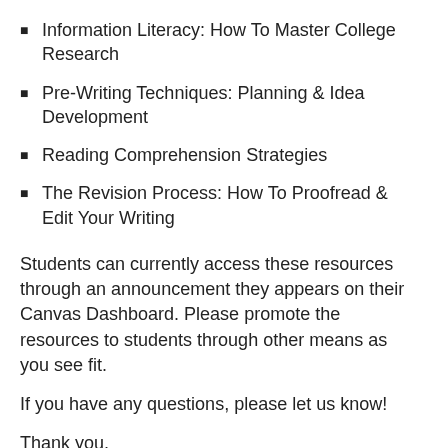Information Literacy: How To Master College Research
Pre-Writing Techniques: Planning & Idea Development
Reading Comprehension Strategies
The Revision Process: How To Proofread & Edit Your Writing
Students can currently access these resources through an announcement they appears on their Canvas Dashboard. Please promote the resources to students through other means as you see fit.
If you have any questions, please let us know!
Thank you,